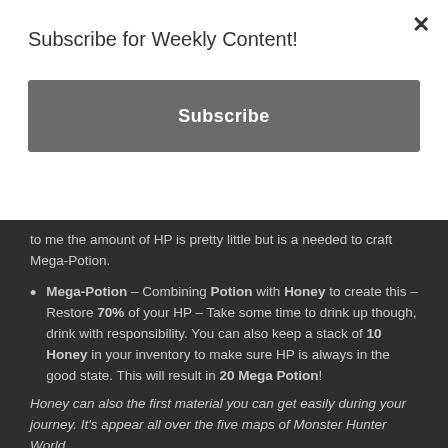Subscribe for Weekly Content!
Subscribe
to me the amount of HP is pretty little but is a needed to craft Mega-Potion.
Mega-Potion – Combining Potion with Honey to create this – Restore 70% of your HP – Take some time to drink up though, drink with responsibility. You can also keep a stack of 10 Honey in your inventory to make sure HP is always in the good state. This will result in 20 Mega Potion!
Honey can also the first material you can get easily during your journey. It's appear all over the five maps of Monster Hunter World.